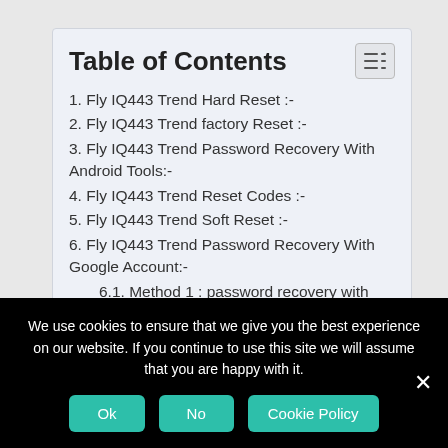Table of Contents
1. Fly IQ443 Trend Hard Reset :-
2. Fly IQ443 Trend factory Reset :-
3. Fly IQ443 Trend Password Recovery With Android Tools:-
4. Fly IQ443 Trend Reset Codes :-
5. Fly IQ443 Trend Soft Reset :-
6. Fly IQ443 Trend Password Recovery With Google Account:-
6.1. Method 1 : password recovery with Google security question (Unlock Screen Pattern)
6.2. Method 2 :- Unlock the screen pattern with
We use cookies to ensure that we give you the best experience on our website. If you continue to use this site we will assume that you are happy with it.